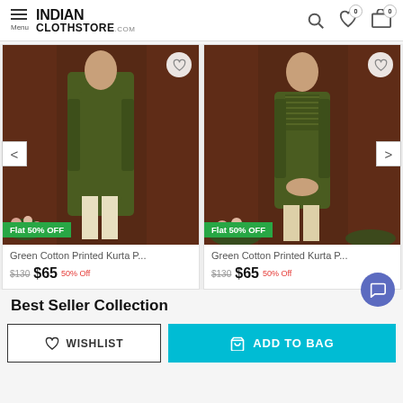INDIAN CLOTHSTORE .COM
[Figure (photo): Man wearing green cotton printed kurta pajama set, standing against brown curtain backdrop with flowers at bottom. Green discount badge showing Flat 50% OFF.]
[Figure (photo): Man wearing green cotton printed kurta pajama set with embroidery, standing against brown curtain backdrop with flowers at bottom. Green discount badge showing Flat 50% OFF.]
Green Cotton Printed Kurta P...
$130  $65  50% Off
Green Cotton Printed Kurta P...
$130  $65  50% Off
Best Seller Collection